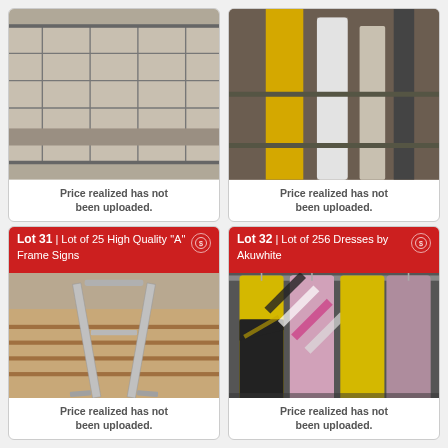[Figure (photo): Metal wire cage/container]
Price realized has not been uploaded.
[Figure (photo): Yellow and white plastic pipes or rolls in a warehouse]
Price realized has not been uploaded.
Lot 31 | Lot of 25 High Quality "A" Frame Signs
[Figure (photo): Metal A-frame sign holder/stand]
Price realized has not been uploaded.
Lot 32 | Lot of 256 Dresses by Akuwhite
[Figure (photo): Colorful striped dresses hanging on a rack]
Price realized has not been uploaded.